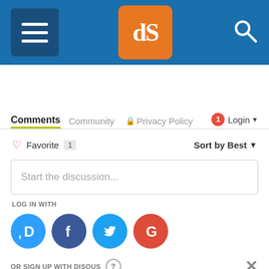[Figure (screenshot): Website header bar with menu icon, dPS logo, and search icon on blue background]
Comments  Community  Privacy Policy  Login
Favorite  1   Sort by Best
Start the discussion...
LOG IN WITH
[Figure (logo): Social login icons: Disqus (D), Facebook (f), Twitter bird, Google (G)]
OR SIGN UP WITH DISQUS ?